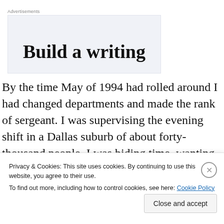Advertisements
[Figure (other): Advertisement banner showing partial text 'Build a writing']
By the time May of 1994 had rolled around I had changed departments and made the rank of sergeant. I was supervising the evening shift in a Dallas suburb of about forty-thousand people. I was biding time, wanting to leave it all for law school, but until then I did my job, and I liked
Privacy & Cookies: This site uses cookies. By continuing to use this website, you agree to their use.
To find out more, including how to control cookies, see here: Cookie Policy
Close and accept